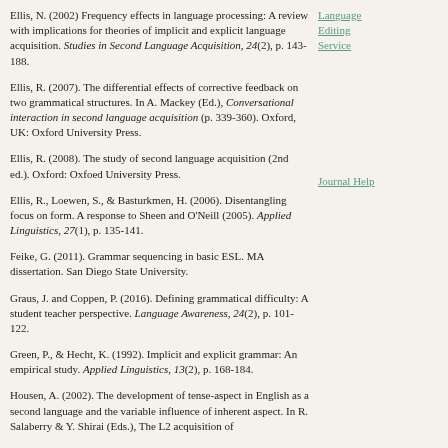Ellis, N. (2002) Frequency effects in language processing: A review with implications for theories of implicit and explicit language acquisition. Studies in Second Language Acquisition, 24(2), p. 143-188.
Ellis, R. (2007). The differential effects of corrective feedback on two grammatical structures. In A. Mackey (Ed.), Conversational interaction in second language acquisition (p. 339-360). Oxford, UK: Oxford University Press.
Ellis, R. (2008). The study of second language acquisition (2nd ed.). Oxford: Oxfoed University Press.
Ellis, R., Loewen, S., & Basturkmen, H. (2006). Disentangling focus on form. A response to Sheen and O'Neill (2005). Applied Linguistics, 27(1), p. 135-141.
Feike, G. (2011). Grammar sequencing in basic ESL. MA dissertation. San Diego State University.
Graus, J. and Coppen, P. (2016). Defining grammatical difficulty: A student teacher perspective. Language Awareness, 24(2), p. 101-122.
Green, P., & Hecht, K. (1992). Implicit and explicit grammar: An empirical study. Applied Linguistics, 13(2), p. 168-184.
Housen, A. (2002). The development of tense-aspect in English as a second language and the variable influence of inherent aspect. In R. Salaberry & Y. Shirai (Eds.), The L2 acquisition of
tense-aspect morphology (p. 155_198). Amsterdam: John Benjamins.
Hulstijn, J.H., & De Graaff, R. (1994). Under what
Language Editing Service
Journal Help